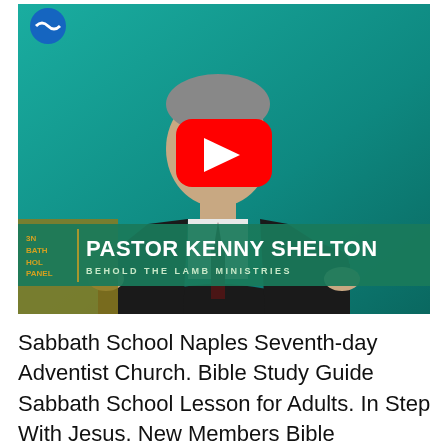[Figure (screenshot): YouTube video thumbnail showing Pastor Kenny Shelton seated and gesturing, with a teal/green background. A red YouTube play button overlay is in the center. A lower-third graphic reads 'PASTOR KENNY SHELTON / BEHOLD THE LAMB MINISTRIES'. A logo is visible in the top-left corner.]
Sabbath School Naples Seventh-day Adventist Church. Bible Study Guide Sabbath School Lesson for Adults. In Step With Jesus. New Members Bible